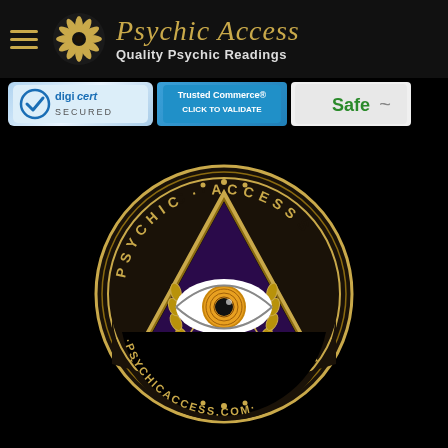Psychic Access — Quality Psychic Readings
[Figure (logo): DigiCert Secured badge, Trusted Commerce Click to Validate badge, Safe badge]
[Figure (logo): Psychic Access circular logo with all-seeing eye inside a golden triangle, text PSYCHIC ACCESS around the circle and PSYCHICACCESS.COM at the bottom]